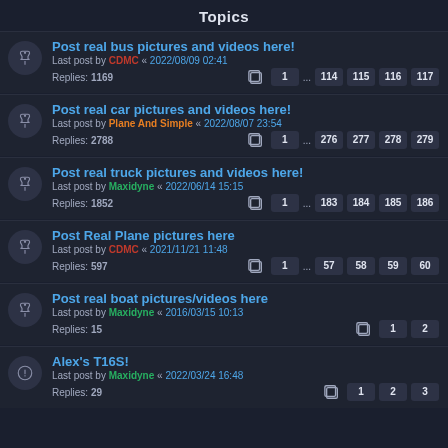Topics
Post real bus pictures and videos here! | Last post by CDMC « 2022/08/09 02:41 | Replies: 1169 | Pages: 1 ... 114 115 116 117
Post real car pictures and videos here! | Last post by Plane And Simple « 2022/08/07 23:54 | Replies: 2788 | Pages: 1 ... 276 277 278 279
Post real truck pictures and videos here! | Last post by Maxidyne « 2022/06/14 15:15 | Replies: 1852 | Pages: 1 ... 183 184 185 186
Post Real Plane pictures here | Last post by CDMC « 2021/11/21 11:48 | Replies: 597 | Pages: 1 ... 57 58 59 60
Post real boat pictures/videos here | Last post by Maxidyne « 2016/03/15 10:13 | Replies: 15 | Pages: 1 2
Alex's T16S! | Last post by Maxidyne « 2022/03/24 16:48 | Replies: 29 | Pages: 1 2 3